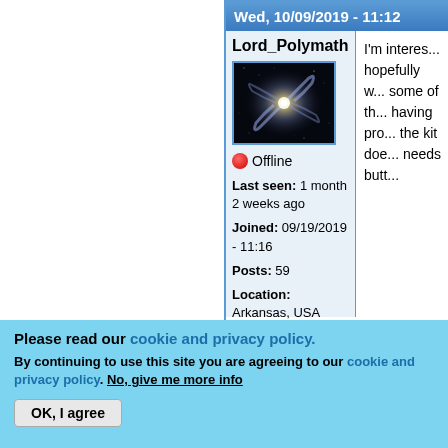Wed, 10/09/2019 - 11:12
Lord_Polymath
[Figure (photo): Galaxy spiral image used as user avatar]
Offline
Last seen: 1 month 2 weeks ago
Joined: 09/19/2019 - 11:16
Posts: 59
Location: Arkansas, USA
I'm interes... hopefully w... some of th... having pro... the kit doe... needs butt...
Please read our cookie and privacy policy.
By continuing to use this site you are agreeing to our cookie and privacy policy. No, give me more info
OK, I agree